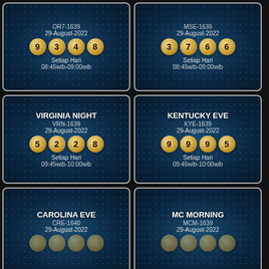[Figure (infographic): Lottery result card: OR7-1639, 29-August-2022, balls 9 3 4 8, Setiap Hari, 08:45wib-09:00wib]
[Figure (infographic): Lottery result card: MSE-1639, 29-August-2022, balls 3 7 6 6, Setiap Hari, 08:45wib-09:00wib]
[Figure (infographic): VIRGINIA NIGHT, VRN-1639, 29-August-2022, balls 5 2 2 8, Setiap Hari, 09:45wib-10:00wib]
[Figure (infographic): KENTUCKY EVE, KYE-1639, 29-August-2022, balls 9 9 9 5, Setiap Hari, 09:45wib-10:00wib]
[Figure (infographic): CAROLINA EVE, CRE-1640, 29-August-2022, partial view]
[Figure (infographic): MC MORNING, MCM-1639, 29-August-2022, partial view]